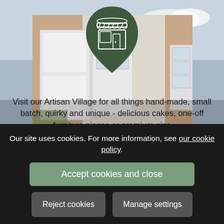[Figure (photo): Brick building storefront with white doors and windows, overlaid with a dark green teardrop/leaf-shaped badge containing a white shop/store icon]
Visit our Artisan Village for all things hand-made, small batch, quirky and unique - delicious cakes, one-off furniture pieces or premium gins
Our site uses cookies. For more information, see our cookie policy.
Accept cookies and close
Reject cookies
Manage settings